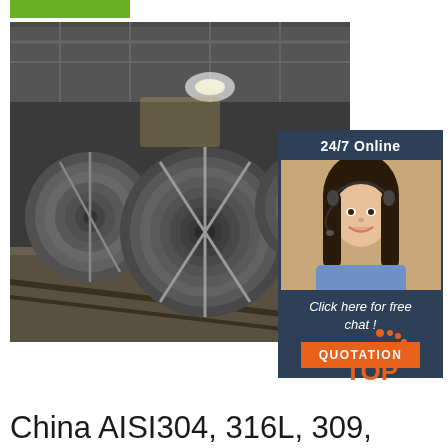[Figure (photo): Green bar header element]
[Figure (photo): Industrial factory interior showing large steel coil rolls on the floor, with overhead cranes and industrial lighting visible in a steel manufacturing facility]
[Figure (photo): 24/7 Online customer service chat widget with a smiling female agent wearing a headset, dark blue background, text 'Click here for free chat!' and an orange QUOTATION button]
[Figure (logo): TOP badge/logo with orange dots arranged in a triangle pattern]
China AISI304, 316L, 309,